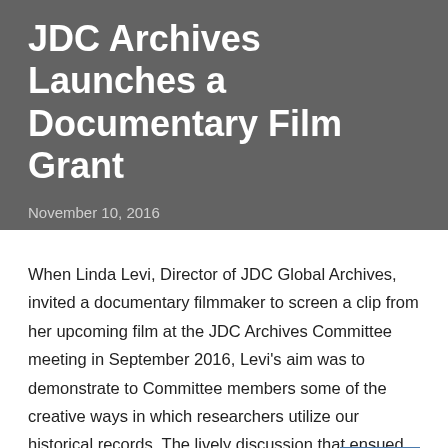JDC Archives Launches a Documentary Film Grant
November 10, 2016
When Linda Levi, Director of JDC Global Archives, invited a documentary filmmaker to screen a clip from her upcoming film at the JDC Archives Committee meeting in September 2016, Levi's aim was to demonstrate to Committee members some of the creative ways in which researchers utilize our historical records. The lively discussion that ensued, and the enthusiastic response from the audience led JDC Archives to think of some Committee